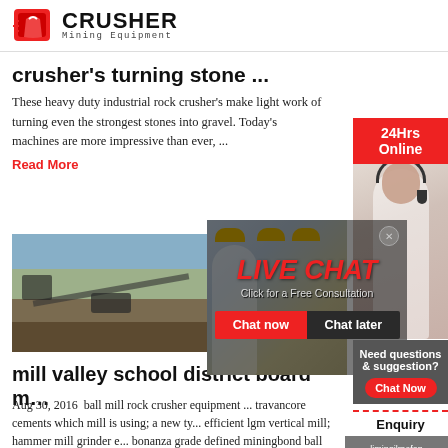CRUSHER Mining Equipment
crusher's turning stone ...
These heavy duty industrial rock crusher's make light work of turning even the strongest stones into gravel. Today's machines are more impressive than ever, ...
Read More
[Figure (photo): Quarry site with mining conveyor equipment]
[Figure (photo): Live Chat overlay with workers in hard hats; buttons: Chat now, Chat later]
[Figure (photo): 24Hrs Online banner with customer service representative wearing headset]
Need questions & suggestion?
Chat Now
Enquiry
limingjlmofen@sina.com
mill valley school district board m...
Aug 30, 2016  ball mill rock crusher equipment ... travancore cements which mill is using; a new ty... efficient lgm vertical mill; hammer mill grinder e... bonanza grade defined miningbond ball mill 945... raymond mill sale price in pakistan; used ball mill for sale for...